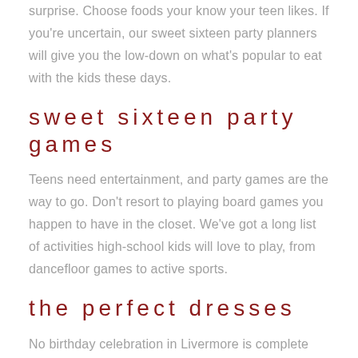surprise. Choose foods your know your teen likes. If you're uncertain, our sweet sixteen party planners will give you the low-down on what's popular to eat with the kids these days.
sweet sixteen party games
Teens need entertainment, and party games are the way to go. Don't resort to playing board games you happen to have in the closet. We've got a long list of activities high-school kids will love to play, from dancefloor games to active sports.
the perfect dresses
No birthday celebration in Livermore is complete without the perfect sweet sixteen dresses. Give your teen the